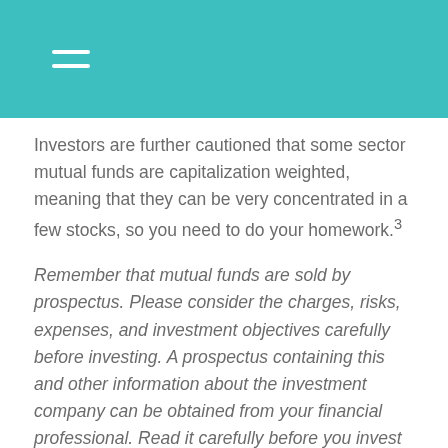Investors are further cautioned that some sector mutual funds are capitalization weighted, meaning that they can be very concentrated in a few stocks, so you need to do your homework.³
Remember that mutual funds are sold by prospectus. Please consider the charges, risks, expenses, and investment objectives carefully before investing. A prospectus containing this and other information about the investment company can be obtained from your financial professional. Read it carefully before you invest or send money.
Sector Investing Strategies
There are a number of ways to implement sector investing,